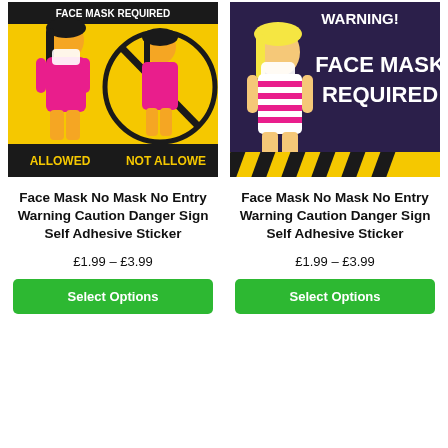[Figure (illustration): Yellow warning sign sticker showing a woman wearing a face mask labeled ALLOWED and a woman without mask in a prohibition circle labeled NOT ALLOWED]
Face Mask No Mask No Entry Warning Caution Danger Sign Self Adhesive Sticker
£1.99 – £3.99
Select Options
[Figure (illustration): Dark purple/black warning sign sticker with yellow hazard stripes at bottom, showing woman with face mask and text WARNING! FACE MASK REQUIRED in bold white letters]
Face Mask No Mask No Entry Warning Caution Danger Sign Self Adhesive Sticker
£1.99 – £3.99
Select Options